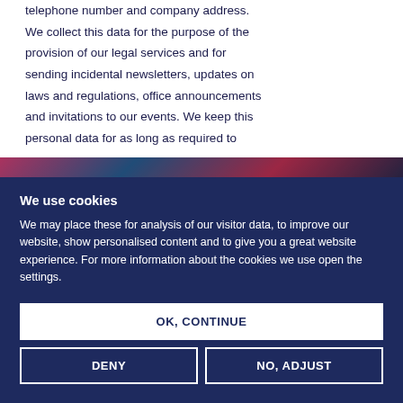telephone number and company address. We collect this data for the purpose of the provision of our legal services and for sending incidental newsletters, updates on laws and regulations, office announcements and invitations to our events. We keep this personal data for as long as required to
We use cookies
We may place these for analysis of our visitor data, to improve our website, show personalised content and to give you a great website experience. For more information about the cookies we use open the settings.
OK, CONTINUE
DENY
NO, ADJUST